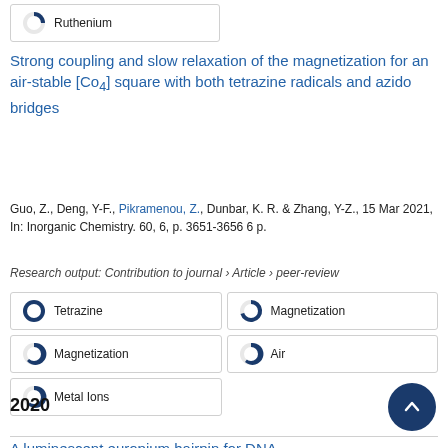[Figure (infographic): Keyword badge: Ruthenium with ~25% filled donut icon]
Strong coupling and slow relaxation of the magnetization for an air-stable [Co4] square with both tetrazine radicals and azido bridges
Guo, Z., Deng, Y-F., Pikramenou, Z., Dunbar, K. R. & Zhang, Y-Z., 15 Mar 2021, In: Inorganic Chemistry. 60, 6, p. 3651-3656 6 p.
Research output: Contribution to journal › Article › peer-review
[Figure (infographic): Keyword badge: Tetrazine with ~100% filled donut icon]
[Figure (infographic): Keyword badge: Magnetization with ~75% filled donut icon]
[Figure (infographic): Keyword badge: Magnetization with ~55% filled donut icon]
[Figure (infographic): Keyword badge: Air with ~50% filled donut icon]
[Figure (infographic): Keyword badge: Metal Ions with ~48% filled donut icon]
2020
A luminescent europium hairpin for DNA